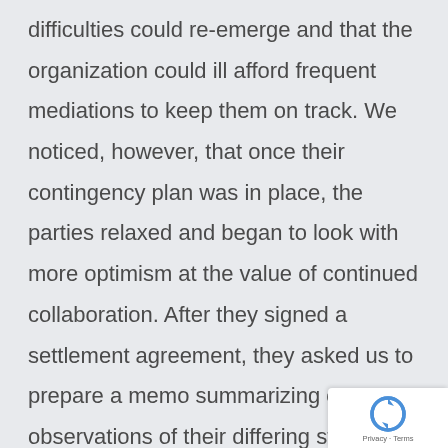difficulties could re-emerge and that the organization could ill afford frequent mediations to keep them on track. We noticed, however, that once their contingency plan was in place, the parties relaxed and began to look with more optimism at the value of continued collaboration. After they signed a settlement agreement, they asked us to prepare a memo summarizing our observations of their differing styles, which they felt would be useful to them as a reminder to be less judgmental about those stylistic differ... And they asked us to consider a further meetin...
[Figure (other): reCAPTCHA badge with Privacy and Terms text]